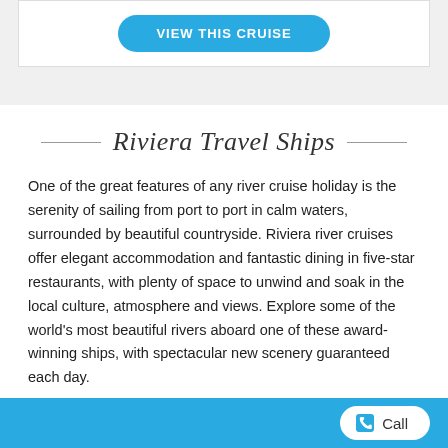[Figure (other): VIEW THIS CRUISE button inside a white card on gray background]
Riviera Travel Ships
One of the great features of any river cruise holiday is the serenity of sailing from port to port in calm waters, surrounded by beautiful countryside. Riviera river cruises offer elegant accommodation and fantastic dining in five-star restaurants, with plenty of space to unwind and soak in the local culture, atmosphere and views. Explore some of the world's most beautiful rivers aboard one of these award-winning ships, with spectacular new scenery guaranteed each day.
Call